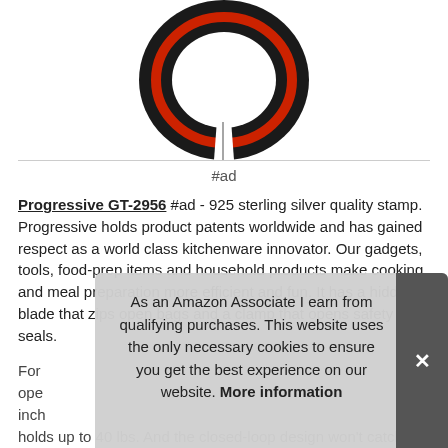[Figure (photo): Black and red split ring / canning jar lid opener product photo, viewed from above, circular shape with a gap/split at bottom]
#ad
Progressive GT-2956 #ad - 925 sterling silver quality stamp. Progressive holds product patents worldwide and has gained respect as a world class kitchenware innovator. Our gadgets, tools, food-prep items and household products make cooking and meal preparation more efficient and fun. It has a hidden blade that zips open bags and a clamp that opens safety seals.
For ... ope... inch... holds up to 40 lbs. And the closed-loop design won't catch on
As an Amazon Associate I earn from qualifying purchases. This website uses the only necessary cookies to ensure you get the best experience on our website. More information